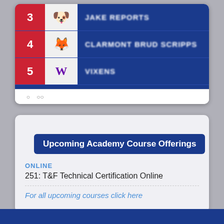[Figure (screenshot): Screenshot of a sports ranking list on a blue background, showing rank numbers 3, 4, 5 with team logos and blurred team names]
Upcoming Academy Course Offerings
ONLINE
251: T&F Technical Certification Online
For all upcoming courses click here